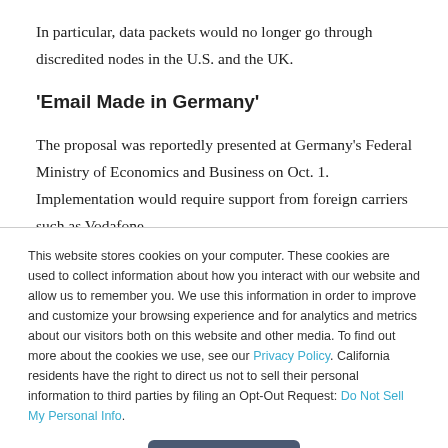In particular, data packets would no longer go through discredited nodes in the U.S. and the UK.
'Email Made in Germany'
The proposal was reportedly presented at Germany's Federal Ministry of Economics and Business on Oct. 1. Implementation would require support from foreign carriers such as Vodafone
This website stores cookies on your computer. These cookies are used to collect information about how you interact with our website and allow us to remember you. We use this information in order to improve and customize your browsing experience and for analytics and metrics about our visitors both on this website and other media. To find out more about the cookies we use, see our Privacy Policy. California residents have the right to direct us not to sell their personal information to third parties by filing an Opt-Out Request: Do Not Sell My Personal Info.